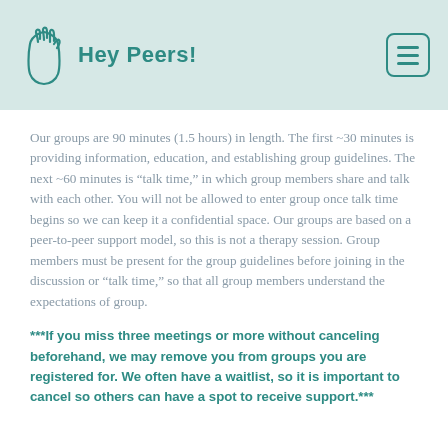Hey Peers!
Our groups are 90 minutes (1.5 hours) in length. The first ~30 minutes is providing information, education, and establishing group guidelines. The next ~60 minutes is “talk time,” in which group members share and talk with each other. You will not be allowed to enter group once talk time begins so we can keep it a confidential space. Our groups are based on a peer-to-peer support model, so this is not a therapy session. Group members must be present for the group guidelines before joining in the discussion or “talk time,” so that all group members understand the expectations of group.
***If you miss three meetings or more without canceling beforehand, we may remove you from groups you are registered for. We often have a waitlist, so it is important to cancel so others can have a spot to receive support.***